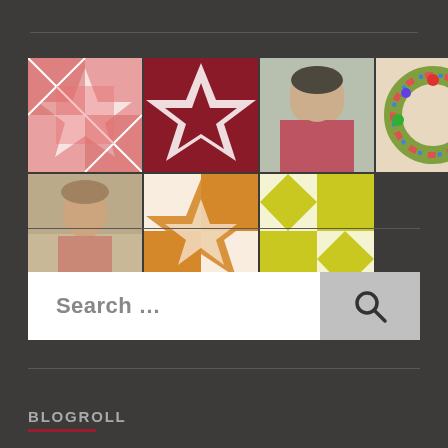[Figure (infographic): Grid of 10 avatar/thumbnail images: 7 in top row (quilt pattern pink, quilt pattern dark red, asian woman portrait, colorful wreath photo, street photo, quilt pattern purple, quilt pattern lime green), 3 in second row (woman outdoors portrait, quilt pattern orange, quilt pattern yellow-green)]
Search ...
BLOGROLL